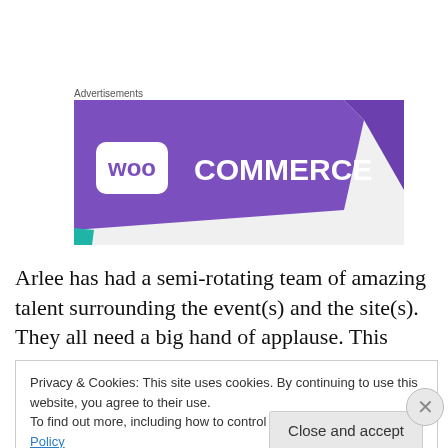Advertisements
[Figure (logo): WooCommerce advertisement banner with purple background and white WooCommerce logo]
Arlee has had a semi-rotating team of amazing talent surrounding the event(s) and the site(s). They all need a big hand of applause. This year, his co-host team has been: J Lenni Dorner, Zalka Csenge Virág , John
Privacy & Cookies: This site uses cookies. By continuing to use this website, you agree to their use.
To find out more, including how to control cookies, see here: Cookie Policy
Close and accept